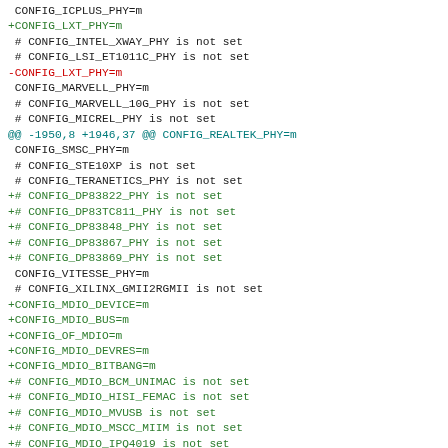diff/patch output showing kernel config changes including CONFIG_LXT_PHY, CONFIG_MARVELL_PHY, CONFIG_SMSC_PHY, CONFIG_VITESSE_PHY, and CONFIG_MDIO_* options